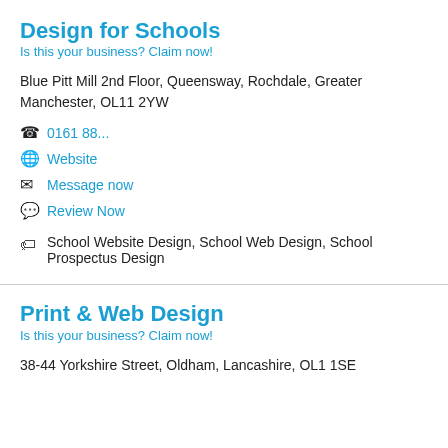Design for Schools
Is this your business? Claim now!
Blue Pitt Mill 2nd Floor, Queensway, Rochdale, Greater Manchester, OL11 2YW
0161 88...
Website
Message now
Review Now
School Website Design, School Web Design, School Prospectus Design
Print & Web Design
Is this your business? Claim now!
38-44 Yorkshire Street, Oldham, Lancashire, OL1 1SE